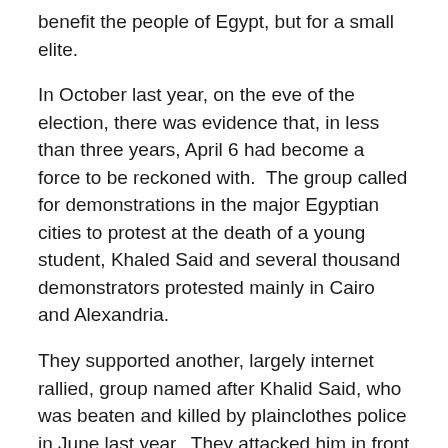benefit the people of Egypt, but for a small elite.
In October last year, on the eve of the election, there was evidence that, in less than three years, April 6 had become a force to be reckoned with.  The group called for demonstrations in the major Egyptian cities to protest at the death of a young student, Khaled Said and several thousand demonstrators protested mainly in Cairo and Alexandria.
They supported another, largely internet rallied, group named after Khalid Said, who was beaten and killed by plainclothes police in June last year.  They attacked him in front of terrified patrons in an internet cafe in Alexandria and he died after the police smashed his head onto a marble table top.
As we then asked by the support for the Khalid Said…